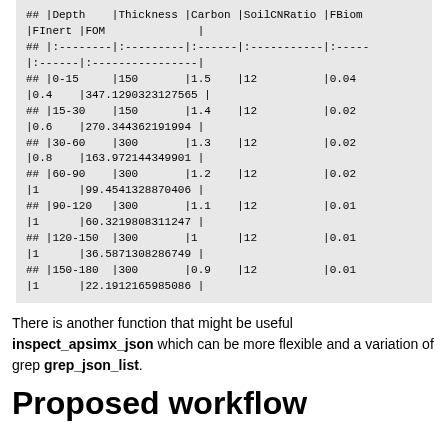| Depth | Thickness | Carbon | SoilCNRatio | FBiom | FInert | FOM |
| --- | --- | --- | --- | --- | --- | --- |
| 0-15 | 150 | 1.5 | 12 | 0.04 | 0.4 | 347.1290323127565 |
| 15-30 | 150 | 1.4 | 12 | 0.02 | 0.6 | 270.344362191994 |
| 30-60 | 300 | 1.3 | 12 | 0.02 | 0.8 | 163.972144349901 |
| 60-90 | 300 | 1.2 | 12 | 0.02 | 1 | 99.4541328870406 |
| 90-120 | 300 | 1.1 | 12 | 0.01 | 1 | 60.3219808311247 |
| 120-150 | 300 | 1 | 12 | 0.01 | 1 | 36.5871308286749 |
| 150-180 | 300 | 0.9 | 12 | 0.01 | 1 | 22.1912165985086 |
There is another function that might be useful inspect_apsimx_json which can be more flexible and a variation of grep grep_json_list.
Proposed workflow